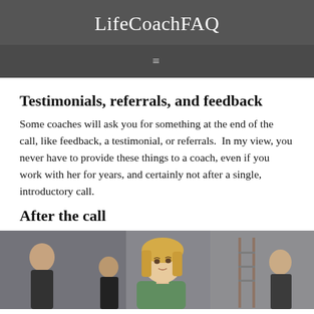LifeCoachFAQ
Testimonials, referrals, and feedback
Some coaches will ask you for something at the end of the call, like feedback, a testimonial, or referrals.  In my view, you never have to provide these things to a coach, even if you work with her for years, and certainly not after a single, introductory call.
After the call
[Figure (photo): A young blonde woman in a social gathering, looking upward, with other people visible in the background in what appears to be an indoor event space.]